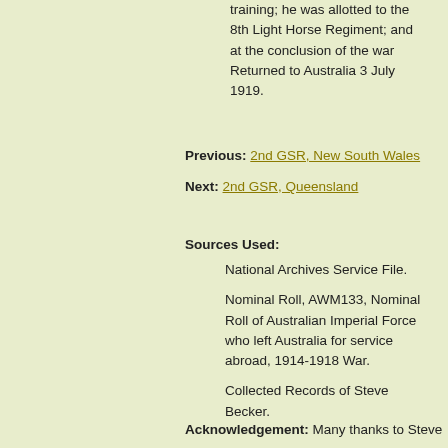training; he was allotted to the 8th Light Horse Regiment; and at the conclusion of the war Returned to Australia 3 July 1919.
Previous: 2nd GSR, New South Wales
Next: 2nd GSR, Queensland
Sources Used:
National Archives Service File.
Nominal Roll, AWM133, Nominal Roll of Australian Imperial Force who left Australia for service abroad, 1914-1918 War.
Collected Records of Steve Becker.
Acknowledgement: Many thanks to Steve